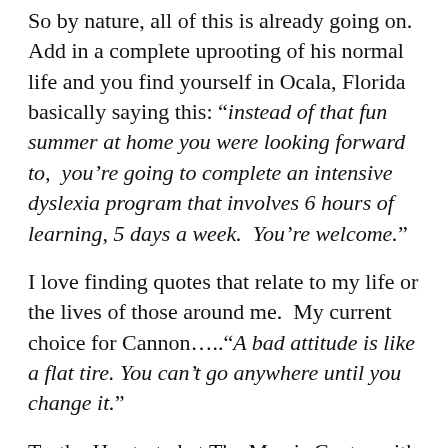So by nature, all of this is already going on.  Add in a complete uprooting of his normal life and you find yourself in Ocala, Florida basically saying this: “instead of that fun summer at home you were looking forward to,  you’re going to complete an intensive dyslexia program that involves 6 hours of learning, 5 days a week.  You’re welcome.”
I love finding quotes that relate to my life or the lives of those around me.  My current choice for Cannon…..“A bad attitude is like a flat tire. You can’t go anywhere until you change it.”
Truth.  He started at The Morris Center with a bad attitude…..mad about missing home, being here with little kids and doing a pointless program that